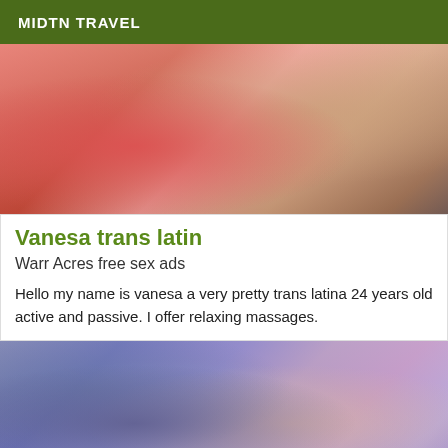MIDTN TRAVEL
[Figure (photo): Photo of a woman in a red top, cropped view]
Vanesa trans latin
Warr Acres free sex ads
Hello my name is vanesa a very pretty trans latina 24 years old active and passive. I offer relaxing massages.
[Figure (photo): Photo of a woman in a blue bikini lying on a blue towel]